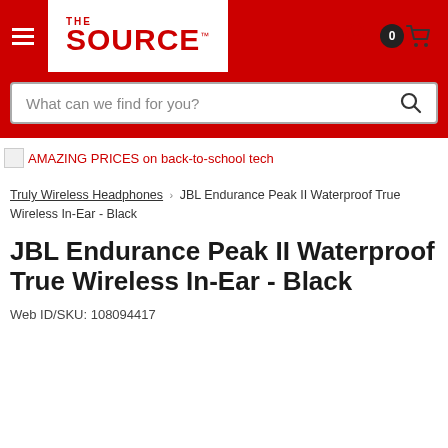[Figure (screenshot): The Source retail website header with red background, hamburger menu icon, white logo box with THE SOURCE logo in red, location pin icon and cart icon with 0 count on the right]
[Figure (screenshot): Red search bar area with white search input box containing placeholder text 'What can we find for you?' and a magnifying glass icon]
AMAZING PRICES on back-to-school tech
Truly Wireless Headphones > JBL Endurance Peak II Waterproof True Wireless In-Ear - Black
JBL Endurance Peak II Waterproof True Wireless In-Ear - Black
Web ID/SKU: 108094417